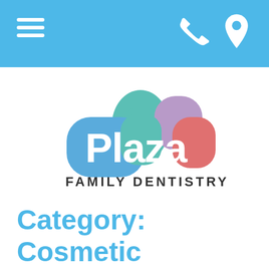Plaza Family Dentistry — navigation header with hamburger menu, phone icon, and location icon
[Figure (logo): Plaza Family Dentistry logo: colorful tooth-shaped blobs in blue, teal, purple, and red/pink with 'Plaza' in white bold text and 'FAMILY DENTISTRY' in dark gray uppercase below]
Category: Cosmetic Dentistry